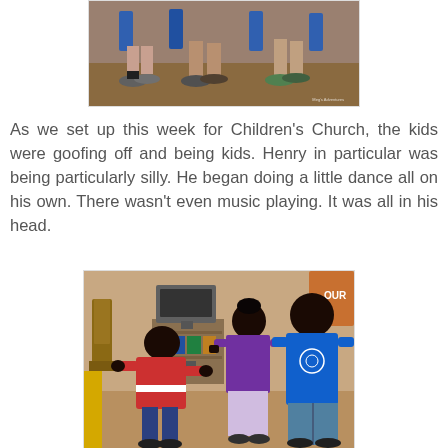[Figure (photo): Partial photo showing children's feet and legs on a wooden floor, appears to be taken during an activity, with watermark text in bottom right corner]
As we set up this week for Children's Church, the kids were goofing off and being kids. Henry in particular was being particularly silly. He began doing a little dance all on his own. There wasn't even music playing. It was all in his head.
[Figure (photo): Photo of three African children indoors. One child in a red striped sweatshirt is dancing/moving, while two others (one in purple, one in a blue t-shirt) stand watching and smiling. A wooden chair, TV unit, and shelving are visible in the background.]